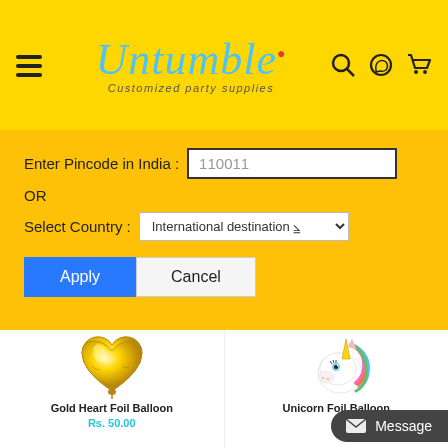[Figure (logo): Untumble logo with hamburger menu, search, WhatsApp, and cart icons on yellow background. Subtitle: Customized party supplies]
Enter Pincode in India : 110011
OR
Select Country : International destination
Apply
Cancel
[Figure (photo): Gold heart foil balloon on white background]
Gold Heart Foil Balloon
Rs. 50.00
[Figure (photo): Unicorn foil balloon (colorful unicorn head) on white background]
Unicorn Foil Balloon
Message